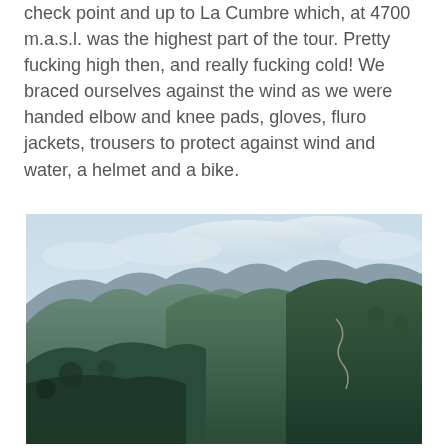check point and up to La Cumbre which, at 4700 m.a.s.l. was the highest part of the tour. Pretty fucking high then, and really fucking cold! We braced ourselves against the wind as we were handed elbow and knee pads, gloves, fluro jackets, trousers to protect against wind and water, a helmet and a bike.
[Figure (photo): Landscape photograph of lush green mountain ranges with dense forest vegetation, winding road visible on the right hillside, and a pale blue cloudy sky above. Typical Andean mountain scenery near La Cumbre, Bolivia.]